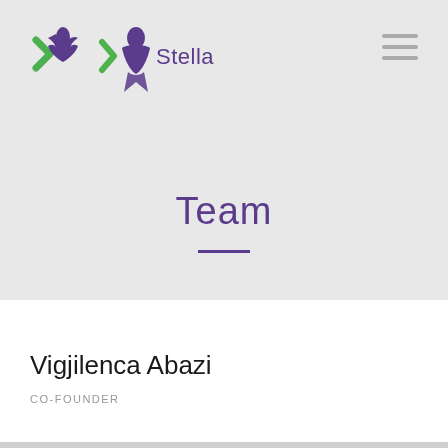[Figure (logo): Stella logo with green and purple bird/arrow shapes and the text 'Stella' in purple]
Team
Vigjilenca Abazi
CO-FOUNDER